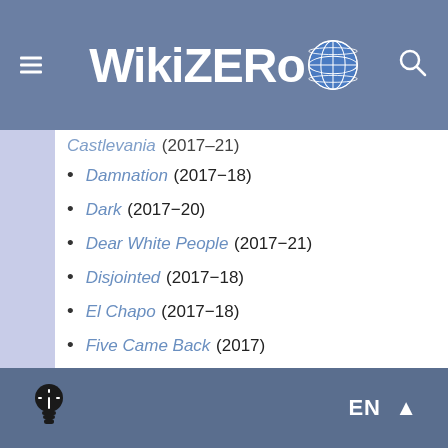WikiZero
Gastlevania (2017–21) [truncated at top]
Damnation (2017–18)
Dark (2017–20)
Dear White People (2017–21)
Disjointed (2017–18)
El Chapo (2017–18)
Five Came Back (2017)
Free Rein (2017–19)
Friends from College (2017–19)
Girlboss (2017)
GLOW (2017–19)
Godless (2017)
Greenhouse Academy (2017–20)
EN